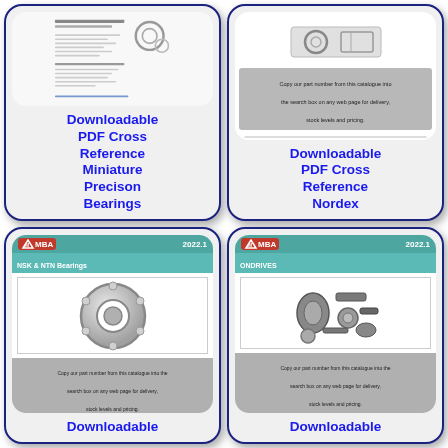[Figure (illustration): Thumbnail of a miniature precision bearings PDF catalogue page showing bearing diagrams and text]
Downloadable PDF Cross Reference Miniature Precison Bearings
[Figure (illustration): Thumbnail of Nordex PDF cross reference catalogue with a grey copy-part-number instruction bar]
Downloadable PDF Cross Reference Nordex
[Figure (illustration): MBA 2022.1 NSK & NTN Bearings catalogue cover showing ball bearing photo and copy-part-number bar]
Downloadable
[Figure (illustration): MBA 2022.1 ONDRIVES catalogue cover showing various drive components photo and copy-part-number bar]
Downloadable